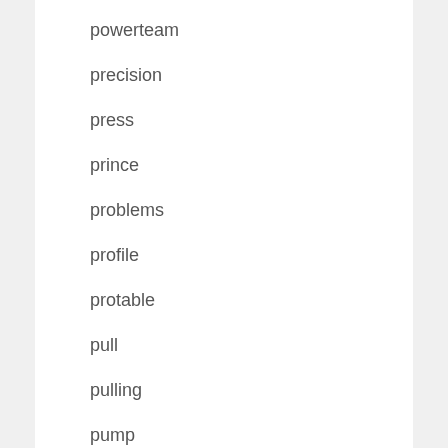powerteam
precision
press
prince
problems
profile
protable
pull
pulling
pump
r-20-h-47-b
rac-306
raksha